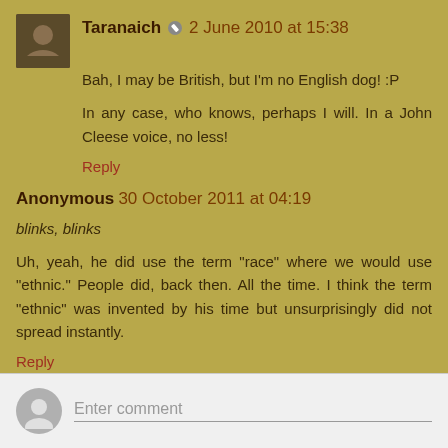Taranaich ✏ 2 June 2010 at 15:38
Bah, I may be British, but I'm no English dog! :P
In any case, who knows, perhaps I will. In a John Cleese voice, no less!
Reply
Anonymous 30 October 2011 at 04:19
blinks, blinks
Uh, yeah, he did use the term "race" where we would use "ethnic." People did, back then. All the time. I think the term "ethnic" was invented by his time but unsurprisingly did not spread instantly.
Reply
Enter comment